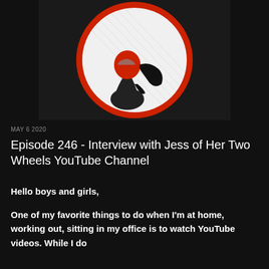[Figure (illustration): A podcast logo showing a silhouette of a person wearing a red motorcycle helmet in profile, with long hair flowing behind, dressed in a black outfit. The figure is set against a white circular background with a thick red circular border.]
MAY 6 2020
Episode 246 - Interview with Jess of Her Two Wheels YouTube Channel
Hello boys and girls,
One of my favorite things to do when I'm at home, working out, sitting in my office is to watch YouTube videos. While I do